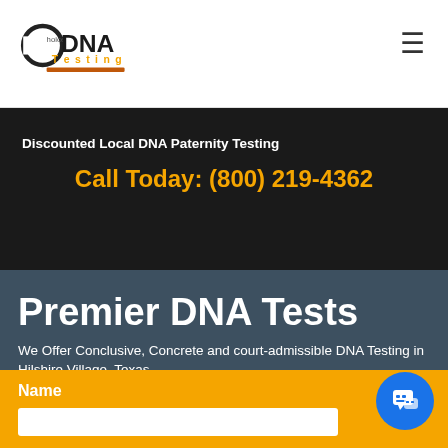[Figure (logo): Choice DNA Testing logo with circular C icon, DNA text in bold black, and 'Testing' in orange below, with orange underline bar]
Discounted Local DNA Paternity Testing
Call Today: (800) 219-4362
Premier DNA Tests
We Offer Conclusive, Concrete and court-admissible DNA Testing in Hilshire Village, Texas
Name